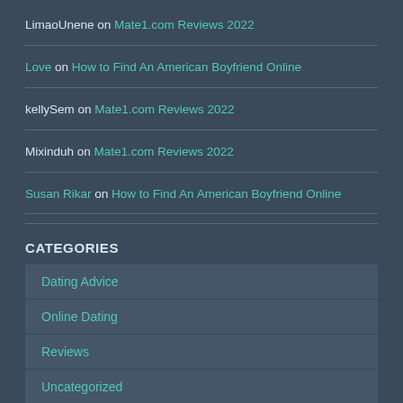LimaoUnene on Mate1.com Reviews 2022
Love on How to Find An American Boyfriend Online
kellySem on Mate1.com Reviews 2022
Mixinduh on Mate1.com Reviews 2022
Susan Rikar on How to Find An American Boyfriend Online
CATEGORIES
Dating Advice
Online Dating
Reviews
Uncategorized